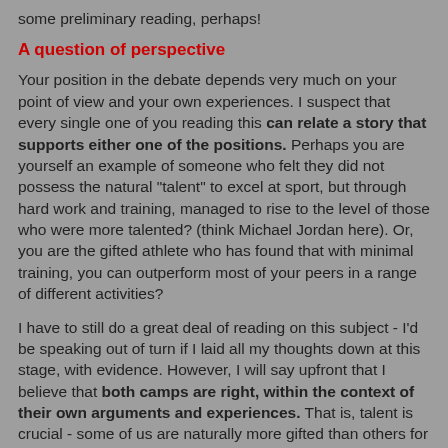some preliminary reading, perhaps!
A question of perspective
Your position in the debate depends very much on your point of view and your own experiences. I suspect that every single one of you reading this can relate a story that supports either one of the positions. Perhaps you are yourself an example of someone who felt they did not possess the natural "talent" to excel at sport, but through hard work and training, managed to rise to the level of those who were more talented? (think Michael Jordan here). Or, you are the gifted athlete who has found that with minimal training, you can outperform most of your peers in a range of different activities?
I have to still do a great deal of reading on this subject - I'd be speaking out of turn if I laid all my thoughts down at this stage, with evidence. However, I will say upfront that I believe that both camps are right, within the context of their own arguments and experiences. That is, talent is crucial - some of us are naturally more gifted than others for